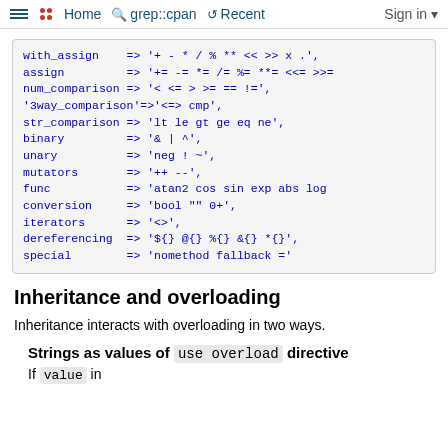Home  grep::cpan  Recent  Sign in
with_assign => '+ - * / % ** << >> x .',
assign => '+= -= *= /= %= **= <<= >>>=
num_comparison => '< <= > >= == !=',
'3way_comparison'=>'<=> cmp',
str_comparison => 'lt le gt ge eq ne',
binary => '& | ^',
unary => 'neg ! ~',
mutators => '++ --',
func => 'atan2 cos sin exp abs log
conversion => 'bool "" 0+',
iterators => '<>',
dereferencing => '${} @{} %{} &{} *{}',
special => 'nomethod fallback ='
Inheritance and overloading
Inheritance interacts with overloading in two ways.
Strings as values of use overload directive
If value in